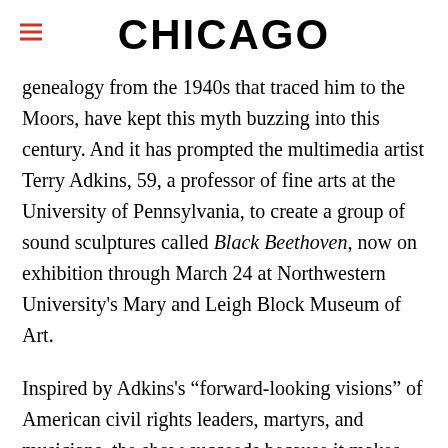CHICAGO
genealogy from the 1940s that traced him to the Moors, have kept this myth buzzing into this century. And it has prompted the multimedia artist Terry Adkins, 59, a professor of fine arts at the University of Pennsylvania, to create a group of sound sculptures called Black Beethoven, now on exhibition through March 24 at Northwestern University's Mary and Leigh Block Museum of Art.
Inspired by Adkins's “forward-looking visions” of American civil rights leaders, martyrs, and musicians, the show succeeds because it makes the viewer wonder, can you see—or hear—a person’s race through his or her art? For those willing to